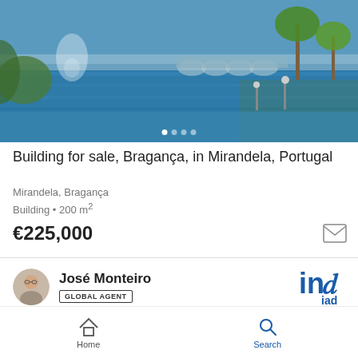[Figure (photo): Lakeside/riverside scene with blue water, fountain, bridge in background, palm trees and greenery, sunny day]
Building for sale, Bragança, in Mirandela, Portugal
Mirandela, Bragança
Building • 200 m²
€225,000
José Monteiro
GLOBAL AGENT
[Figure (photo): Exterior facade of a building with balconies, windows, stone/plaster walls, trees in background]
Home    Search